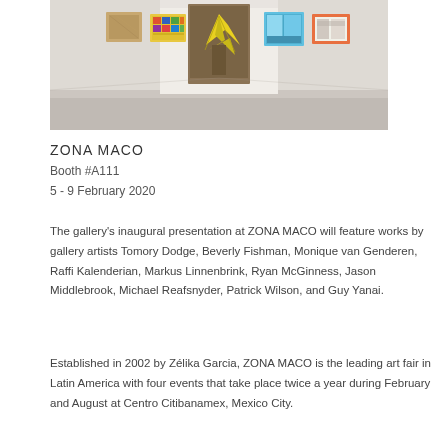[Figure (photo): Gallery interior showing colorful paintings hung on white walls with a polished concrete floor]
ZONA MACO
Booth #A111
5 - 9 February 2020
The gallery's inaugural presentation at ZONA MACO will feature works by gallery artists Tomory Dodge, Beverly Fishman, Monique van Genderen, Raffi Kalenderian, Markus Linnenbrink, Ryan McGinness, Jason Middlebrook, Michael Reafsnyder, Patrick Wilson, and Guy Yanai.
Established in 2002 by Zélika Garcia, ZONA MACO is the leading art fair in Latin America with four events that take place twice a year during February and August at Centro Citibanamex, Mexico City.